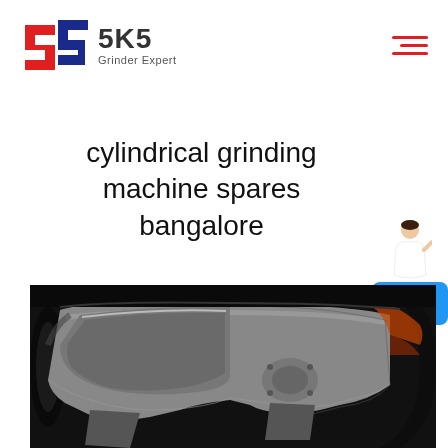[Figure (logo): SKS Grinder Expert logo with stylized G/S icon in red and blue, and text SKS Grinder Expert]
cylindrical grinding machine spares bangalore
[Figure (photo): Close-up photograph of cylindrical grinding machine spare parts showing metallic cast iron components with bolts and pulleys in dark industrial setting]